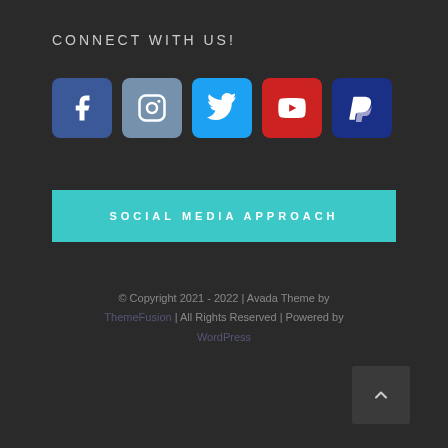CONNECT WITH US!
[Figure (infographic): Row of 5 social media icon buttons: Facebook (blue), Instagram (steel blue), Twitter (light blue), YouTube (red), PayPal (dark blue)]
SOCIAL MEDIA APPROACH
© Copyright 2021 - 2022 | Avada Theme by ThemeFusion | All Rights Reserved | Powered by WordPress